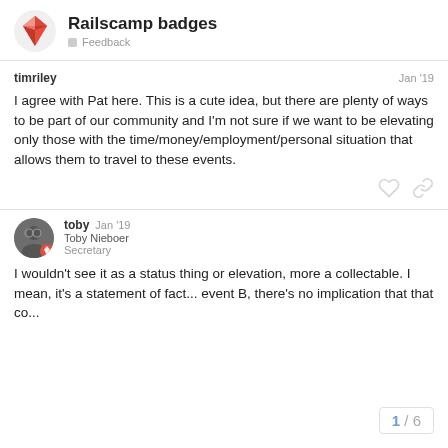Railscamp badges — Feedback
timriley — Jan '19
I agree with Pat here. This is a cute idea, but there are plenty of ways to be part of our community and I'm not sure if we want to be elevating only those with the time/money/employment/personal situation that allows them to travel to these events.
toby — Toby Nieboer — Secretary — Jan '19
I wouldn't see it as a status thing or elevation, more a collectable. I mean, it's a statement of fact... event B, there's no implication that that co...